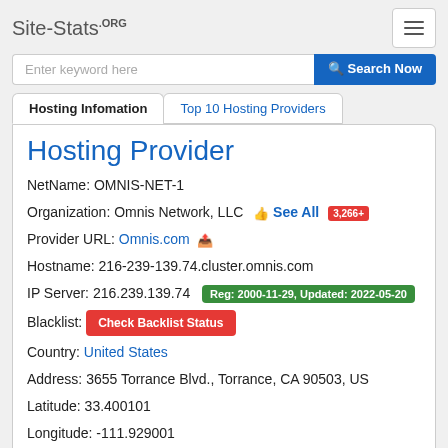Site-Stats.ORG
Enter keyword here  Search Now
Hosting Infomation | Top 10 Hosting Providers
Hosting Provider
NetName: OMNIS-NET-1
Organization: Omnis Network, LLC  See All 3,266+
Provider URL: Omnis.com
Hostname: 216-239-139.74.cluster.omnis.com
IP Server: 216.239.139.74  Reg: 2000-11-29, Updated: 2022-05-20
Blacklist: Check Backlist Status
Country: United States
Address: 3655 Torrance Blvd., Torrance, CA 90503, US
Latitude: 33.400101
Longitude: -111.929001